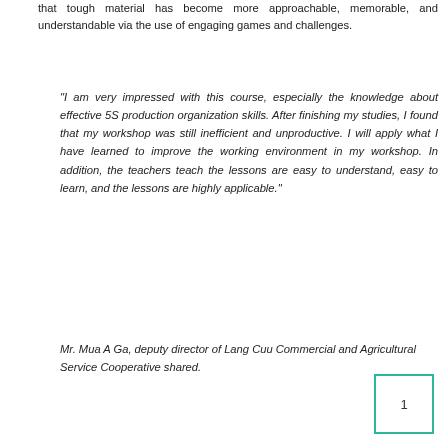that tough material has become more approachable, memorable, and understandable via the use of engaging games and challenges.
“I am very impressed with this course, especially the knowledge about effective 5S production organization skills. After finishing my studies, I found that my workshop was still inefficient and unproductive. I will apply what I have learned to improve the working environment in my workshop. In addition, the teachers teach the lessons are easy to understand, easy to learn, and the lessons are highly applicable.”
Mr. Mua A Ga, deputy director of Lang Cuu Commercial and Agricultural Service Cooperative shared.
1